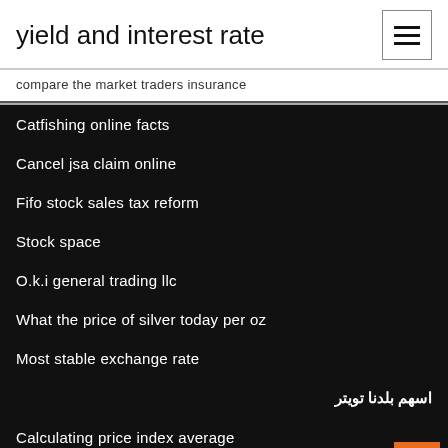yield and interest rate
compare the market traders insurance
Catfishing online facts
Cancel jsa claim online
Fifo stock sales tax reform
Stock space
O.k.i general trading llc
What the price of silver today per oz
Most stable exchange rate
اسهم بلدنا تويتر
Calculating price index average
Panama tax rate 2020